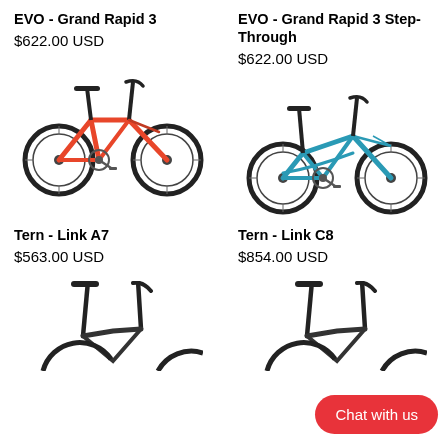EVO - Grand Rapid 3
$622.00 USD
EVO - Grand Rapid 3 Step-Through
$622.00 USD
[Figure (photo): Red folding bicycle (EVO Grand Rapid 3)]
[Figure (photo): Teal/blue folding bicycle (EVO Grand Rapid 3 Step-Through)]
Tern - Link A7
$563.00 USD
Tern - Link C8
$854.00 USD
[Figure (photo): Partial view of Tern Link A7 folding bicycle (top portion visible)]
[Figure (photo): Partial view of Tern Link C8 folding bicycle (top portion visible)]
Chat with us